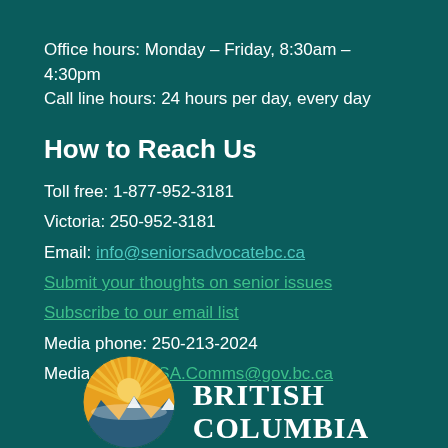Office hours: Monday – Friday, 8:30am – 4:30pm
Call line hours: 24 hours per day, every day
How to Reach Us
Toll free: 1-877-952-3181
Victoria: 250-952-3181
Email: info@seniorsadvocatebc.ca
Submit your thoughts on senior issues
Subscribe to our email list
Media phone: 250-213-2024
Media email: OSA.Comms@gov.bc.ca
[Figure (logo): British Columbia government logo with stylized sun rising over mountains]